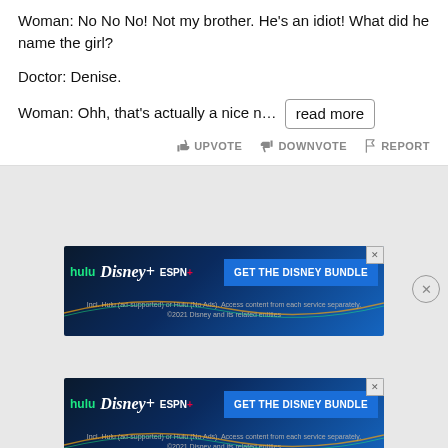Woman: No No No! Not my brother. He's an idiot! What did he name the girl?
Doctor: Denise.
Woman: Ohh, that's actually a nice n… read more
UPVOTE  DOWNVOTE  REPORT
[Figure (screenshot): Disney Bundle advertisement banner with Hulu, Disney+, ESPN+ logos and 'GET THE DISNEY BUNDLE' button. Fine print: Incl. Hulu (ad-supported) or Hulu (No Ads). Access content from each service separately. ©2021 Disney and its related entities]
[Figure (screenshot): Second identical Disney Bundle advertisement banner with Hulu, Disney+, ESPN+ logos and 'GET THE DISNEY BUNDLE' button. Fine print: Incl. Hulu (ad-supported) or Hulu (No Ads). Access content from each service separately. ©2021 Disney and its related entities]